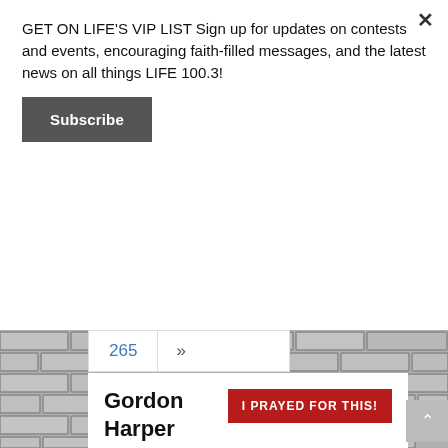GET ON LIFE'S VIP LIST Sign up for updates on contests and events, encouraging faith-filled messages, and the latest news on all things LIFE 100.3!
Subscribe
[Figure (screenshot): Brick wall background with pagination showing 265 and navigation arrow]
Gordon Harper
I PRAYED FOR THIS!
Prayed for 14 times.
I need prayer, God knows my situation and I just need prayer for my situation that I'm dealing with right now.
Posted on February 10th, 2020